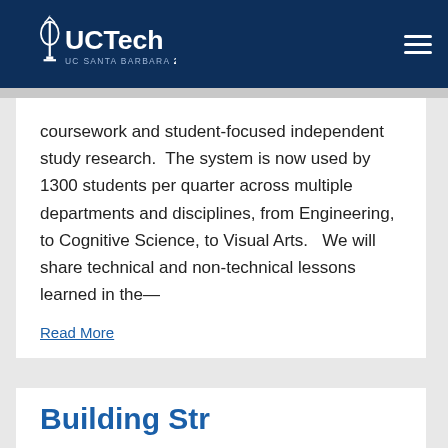UC Tech UC SANTA BARBARA 2019
coursework and student-focused independent study research.  The system is now used by 1300 students per quarter across multiple departments and disciplines, from Engineering, to Cognitive Science, to Visual Arts.   We will share technical and non-technical lessons learned in the—
Read More
Building Str...